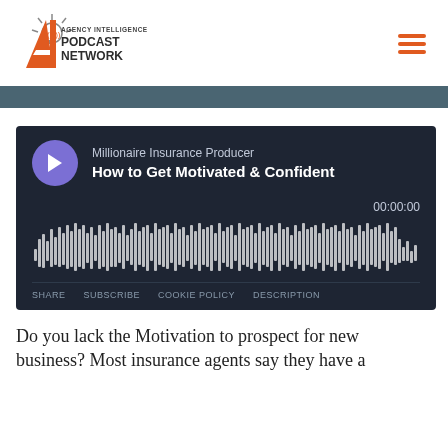[Figure (logo): Agency Intelligence Podcast Network logo with orange AI letters and microphone icon]
[Figure (screenshot): Podcast audio player widget showing episode 'How to Get Motivated & Confident' from Millionaire Insurance Producer, with waveform display, time 00:00:00, and controls SHARE SUBSCRIBE COOKIE POLICY DESCRIPTION]
Do you lack the Motivation to prospect for new business? Most insurance agents say they have a